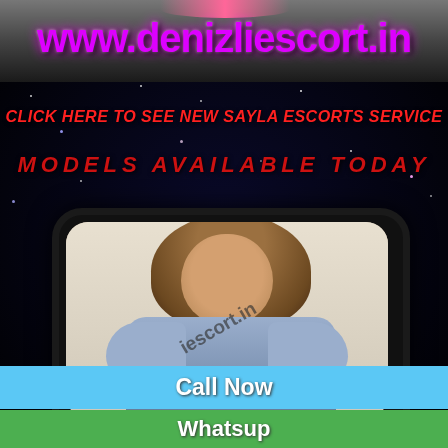[Figure (photo): Website banner with URL www.denizliescort.in in purple text on dark background]
CLICK HERE TO SEE NEW SAYLA ESCORTS SERVICE
MODELS AVAILABLE TODAY
[Figure (photo): Young woman with long brown hair in denim shirt displayed in phone frame mockup, with watermark text iescort.in]
Call Now
Whatsup